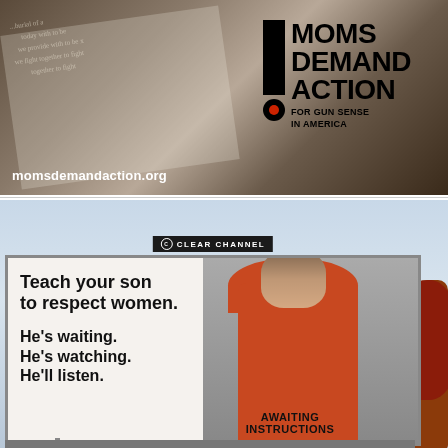[Figure (photo): Photo of a hand holding papers with text, with a 'Moms Demand Action for Gun Sense in America' logo visible. Website momsdemandaction.org shown at bottom left.]
[Figure (photo): Photo of a Clear Channel billboard reading 'Teach your son to respect women. He's waiting. He's watching. He'll listen.' with an image of a young boy in a red hoodie and text 'AWAITING INSTRUCTIONS' at the bottom.]